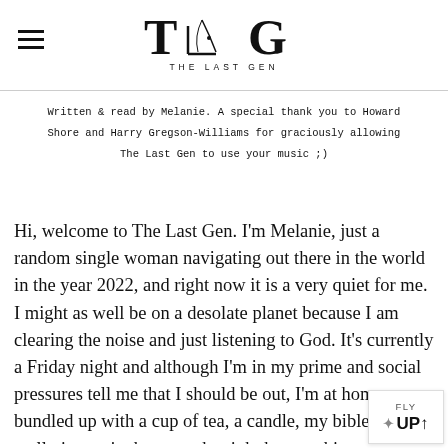THE LAST GEN
Written & read by Melanie. A special thank you to Howard Shore and Harry Gregson-Williams for graciously allowing The Last Gen to use your music ;)
Hi, welcome to The Last Gen. I'm Melanie, just a random single woman navigating out there in the world in the year 2022, and right now it is a very quiet for me. I might as well be on a desolate planet because I am clearing the noise and just listening to God. It's currently a Friday night and although I'm in my prime and social pressures tell me that I should be out, I'm at home, bundled up with a cup of tea, a candle, my bible, and I'm really just quite happy to be right here at this very moment an you wherever you may be out there in the wo